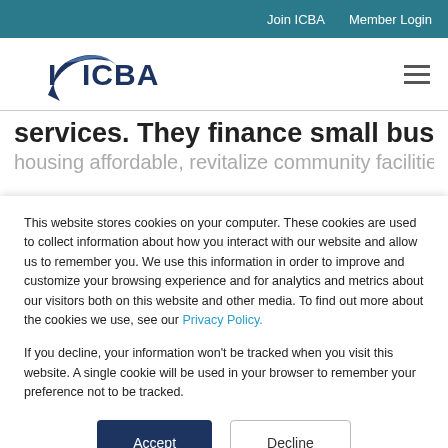Join ICBA   Member Login
[Figure (logo): ICBA logo with stylized swoosh and text 'ICBA']
services. They finance small businesses, make housing affordable, revitalize community facilities
This website stores cookies on your computer. These cookies are used to collect information about how you interact with our website and allow us to remember you. We use this information in order to improve and customize your browsing experience and for analytics and metrics about our visitors both on this website and other media. To find out more about the cookies we use, see our Privacy Policy.
If you decline, your information won't be tracked when you visit this website. A single cookie will be used in your browser to remember your preference not to be tracked.
Accept
Decline